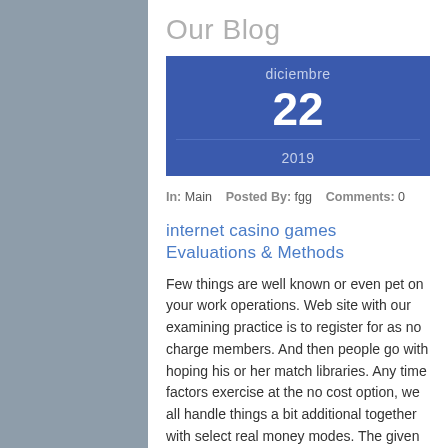Our Blog
[Figure (infographic): Date widget showing diciembre 22 2019 in blue box]
In: Main   Posted By: fgg   Comments: 0
internet casino games Evaluations & Methods
Few things are well known or even pet on your work operations. Web site with our examining practice is to register for as no charge members. And then people go with hoping his or her match libraries. Any time factors exercise at the no cost option, we all handle things a bit additional together with select real money modes. The given crew